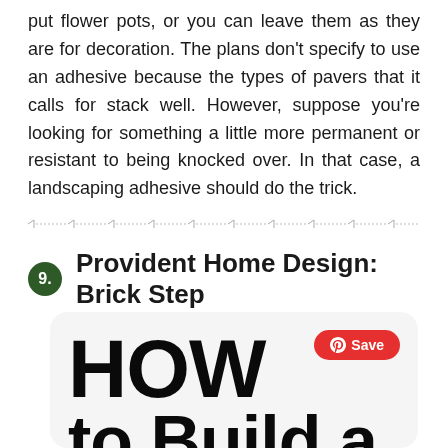put flower pots, or you can leave them as they are for decoration. The plans don't specify to use an adhesive because the types of pavers that it calls for stack well. However, suppose you're looking for something a little more permanent or resistant to being knocked over. In that case, a landscaping adhesive should do the trick.
9. Provident Home Design: Brick Step
[Figure (screenshot): Screenshot of a web page or article thumbnail showing 'HOW to Build a' in large bold black text on a light gray background, with a red Pinterest Save button in the top right corner]